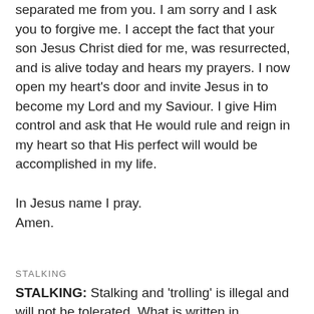separated me from you. I am sorry and I ask you to forgive me. I accept the fact that your son Jesus Christ died for me, was resurrected, and is alive today and hears my prayers. I now open my heart's door and invite Jesus in to become my Lord and my Saviour. I give Him control and ask that He would rule and reign in my heart so that His perfect will would be accomplished in my life.
In Jesus name I pray.
Amen.
STALKING
STALKING: Stalking and ‘trolling’ is illegal and will not be tolerated. What is written in KeepLifeLegal will not be debated and is for informational purposes only.
LEGAL SCHMEGAL
You may not modify, copy or distribute material within KeepLifeLegal without written permission from the